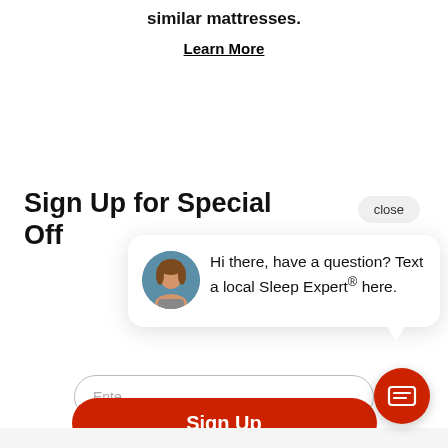We'll beat any price on similar mattresses.
Learn More
Sign Up for Special Offers
Enter email address
Sign Up
close
Hi there, have a question? Text a local Sleep Expert® here.
[Figure (illustration): Red chat FAB button with message icon]